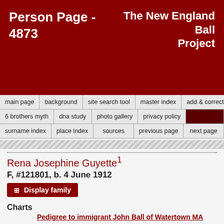Person Page - 4873 | The New England Ball Project
Rena Josephine Guyette¹
F, #121801, b. 4 June 1912
Display family
Charts
Pedigree to immigrant John Ball of Watertown MA
Rena Josephine Guyette was born on 4 June 1912 at Woodbury, Washington Co., VT.²˒¹ She was the daughter of George Elijah Guyette and Ina Laura Burnham.²
Citations